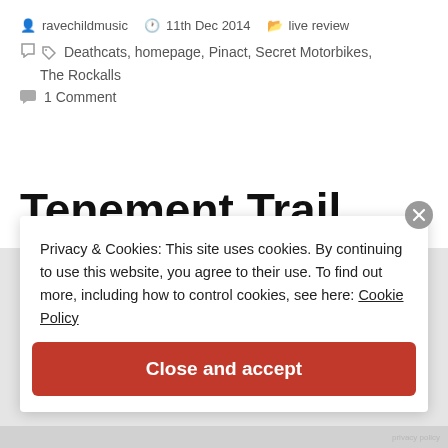ravechildmusic  11th Dec 2014  live review
Deathcats, homepage, Pinact, Secret Motorbikes, The Rockalls
1 Comment
Tenement Trail
Privacy & Cookies: This site uses cookies. By continuing to use this website, you agree to their use. To find out more, including how to control cookies, see here: Cookie Policy
Close and accept